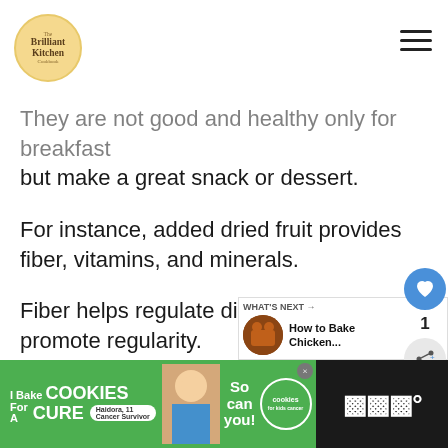Brilliant Kitchen
They are not good and healthy only for breakfast but make a great snack or dessert.
For instance, added dried fruit provides fiber, vitamins, and minerals.
Fiber helps regulate digestion and promote regularity.
[Figure (screenshot): Advertisement banner: cookies for kids cancer - 'your HOBBY is their HOPE']
[Figure (screenshot): What's Next overlay showing 'How to Bake Chicken...']
[Figure (screenshot): Bottom advertisement bar: I Bake COOKIES For A CURE - Haidora, 11 Cancer Survivor - So can you! - cookies for kids cancer]